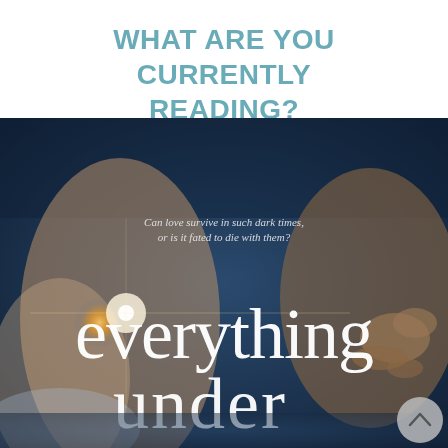WHAT ARE YOU CURRENTLY READING?
[Figure (photo): Book cover of 'Everything Under' featuring two people's hands and arms touching, with a lens flare light effect. Text on cover reads: 'Can love survive in such dark times, or is it fated to die with them?' The title 'everything under' is displayed in large white serif font at the bottom. Dark blue atmospheric background.]